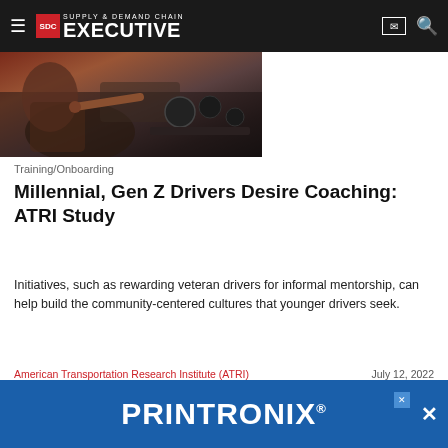Supply & Demand Chain Executive
[Figure (photo): Person in plaid shirt pointing inside a truck cab dashboard area]
Training/Onboarding
Millennial, Gen Z Drivers Desire Coaching: ATRI Study
Initiatives, such as rewarding veteran drivers for informal mentorship, can help build the community-centered cultures that younger drivers seek.
American Transportation Research Institute (ATRI)    July 12, 2022
[Figure (photo): Worker in hard hat and safety vest working under a truck]
[Figure (other): PRINTRONIX advertisement banner]